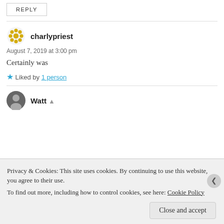REPLY
charlypriest
August 7, 2019 at 3:00 pm
Certainly was
Liked by 1 person
Watt
Privacy & Cookies: This site uses cookies. By continuing to use this website, you agree to their use. To find out more, including how to control cookies, see here: Cookie Policy
Close and accept